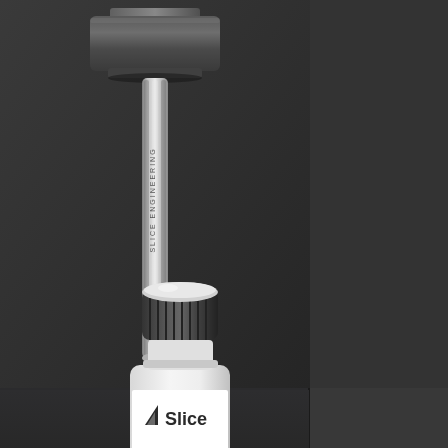[Figure (photo): Slice Engineering Nozzle Torque Wrench — a T-shaped tool with a dark gray wide head on top and a silver metal shaft with branding text, photographed against a dark background]
Slice Engineering Nozzle Torque Wrench
$24.99
[Figure (photo): Small white bottle with black ribbed screw cap and Slice Engineering logo/branding, partially visible at the bottom of the page, against a dark background]